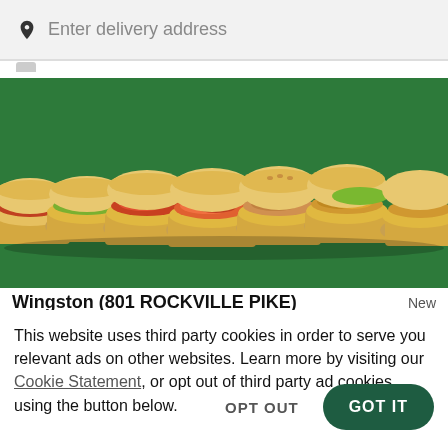Enter delivery address
[Figure (photo): Row of submarine sandwiches with various toppings arranged on a green background, viewed from the side in a diagonal line.]
Wingston (801 ROCKVILLE PIKE)   New
This website uses third party cookies in order to serve you relevant ads on other websites. Learn more by visiting our Cookie Statement, or opt out of third party ad cookies using the button below.
OPT OUT
GOT IT